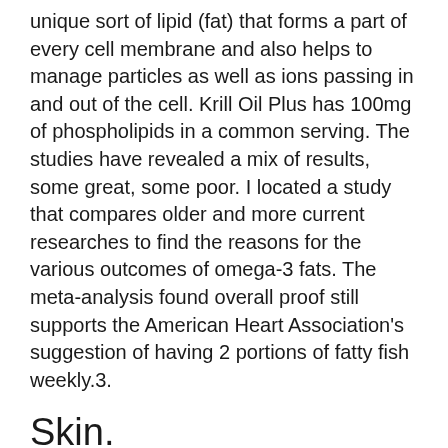unique sort of lipid (fat) that forms a part of every cell membrane and also helps to manage particles as well as ions passing in and out of the cell. Krill Oil Plus has 100mg of phospholipids in a common serving. The studies have revealed a mix of results, some great, some poor. I located a study that compares older and more current researches to find the reasons for the various outcomes of omega-3 fats. The meta-analysis found overall proof still supports the American Heart Association's suggestion of having 2 portions of fatty fish weekly.3.
Skin.
Some individuals are honored with a normally beautiful glow. For the remainder of